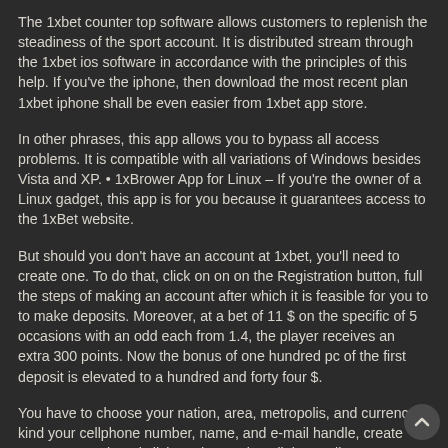The 1xbet counter top software allows customers to replenish the steadiness of the sport account. It is distributed stream through the 1xbet ios software in accordance with the principles of this help. If you've the iphone, then download the most recent plan 1xbet iphone shall be even easier from 1xbet app store.
In other phrases, this app allows you to bypass all access problems. It is compatible with all variations of Windows besides Vista and XP. • 1xBrower App for Linux – If you're the owner of a Linux gadget, this app is for you because it guarantees access to the 1xBet website.
But should you don't have an account at 1xbet, you'll need to create one. To do that, click on on on the Registration button, full the steps of making an account after which it is feasible for you to to make deposits. Moreover, at a bet of 11 $ on the specific of 5 occasions with an odd each from 1.4, the player receives an extra 300 points. Now the bonus of one hundred pc of the first deposit is elevated to a hundred and forty four $.
You have to choose your nation, area, metropolis, and currency, kind your cellphone number, name, and e-mail handle, create your password, and click on the Register link. I really get